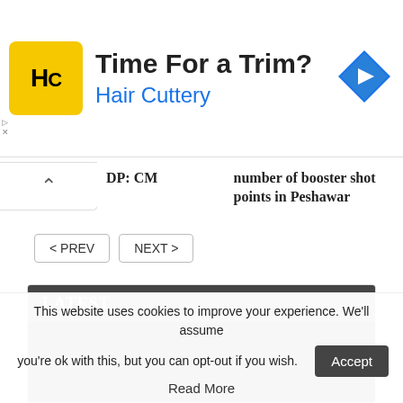[Figure (other): Hair Cuttery advertisement banner with yellow logo showing 'HC', headline 'Time For a Trim?' and brand name 'Hair Cuttery' in blue, with a blue navigation arrow icon on right]
DP: CM
number of booster shot points in Peshawar
< PREV   NEXT >
LATEST
[Figure (photo): Dark/black image in latest news section]
This website uses cookies to improve your experience. We'll assume you're ok with this, but you can opt-out if you wish.
Accept
Read More